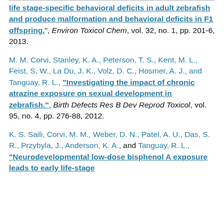…life stage-specific behavioral deficits in adult zebrafish and produce malformation and behavioral deficits in F1 offspring.", Environ Toxicol Chem, vol. 32, no. 1, pp. 201-6, 2013.
M. M. Corvi, Stanley, K. A., Peterson, T. S., Kent, M. L., Feist, S. W., La Du, J. K., Volz, D. C., Hosmer, A. J., and Tanguay, R. L., "Investigating the impact of chronic atrazine exposure on sexual development in zebrafish.", Birth Defects Res B Dev Reprod Toxicol, vol. 95, no. 4, pp. 276-88, 2012.
K. S. Saili, Corvi, M. M., Weber, D. N., Patel, A. U., Das, S. R., Przybyla, J., Anderson, K. A., and Tanguay, R. L., "Neurodevelopmental low-dose bisphenol A exposure leads to early life-stage…